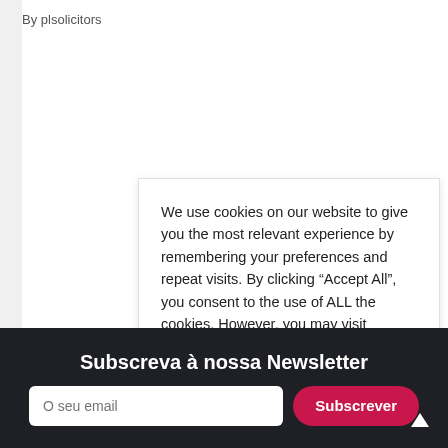By plsolicitors
We use cookies on our website to give you the most relevant experience by remembering your preferences and repeat visits. By clicking “Accept All”, you consent to the use of ALL the cookies. However, you may visit "Cookie Settings" to provide a controlled consent.
Subscreva à nossa Newsletter
O seu email
Subscrever